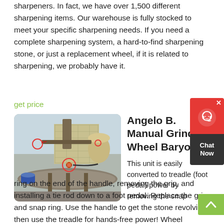sharpeners. In fact, we have over 1,500 different sharpening items. Our warehouse is fully stocked to meet your specific sharpening needs. If you need a complete sharpening system, a hard-to-find sharpening stone, or just a replacement wheel, if it is related to sharpening, we probably have it.
get price
[Figure (photo): Outdoor industrial grinding/crushing machine on a circular platform with large mechanical components and red-circled parts highlighted.]
Angelo B. Manual Grinding Wheel Baryonyx
This unit is easily converted to treadle (foot pedal) power by removing the snap ring on the end of the handle, removing the grip, and installing a tie rod down to a foot pedal. Replace the grip and snap ring. Use the handle to get the stone revolving, then use the treadle for hands-free power! Wheel Diameter: 30cm (11.8in) Wheel Face Width